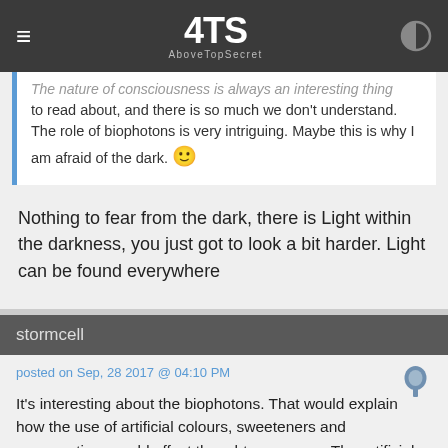ATS AboveTopSecret
The nature of consciousness is always an interesting thing to read about, and there is so much we don't understand. The role of biophotons is very intriguing. Maybe this is why I am afraid of the dark. 🙂
Nothing to fear from the dark, there is Light within the darkness, you just got to look a bit harder. Light can be found everywhere
stormcell
posted on Sep, 28 2017 @ 04:10 PM
It's interesting about the biophotons. That would explain how the use of artificial colours, sweeteners and preservatives could affect thought processes. The artificial colors would block and overload the neural communications.